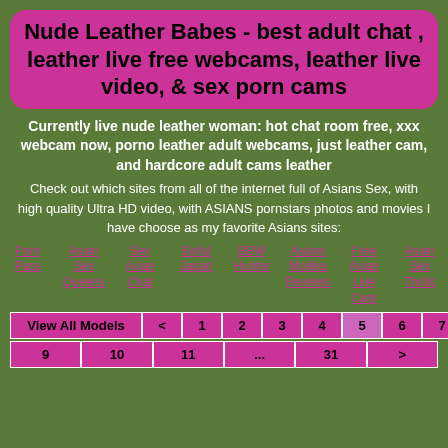Nude Leather Babes - best adult chat , leather live free webcams, leather live video, & sex porn cams
Currently live nude leather woman: hot chat room free, xxx webcam now, porno leather adult webcams, just leather cam, and hardcore adult cams leather
Check out which sites from all of the internet full of Asians Sex, with high quality Ultra HD video, with ASIANS pornstars photos and movies I have choose as my favorite Asians sites:
Porn Pass
Asian Sex Queens
Sex Asian Chat
Sinful Japan
BBW Hunter
Asians Models Reviews
Free Asian Live Cam
Asian Sex Thrills
| View All Models | < | 1 | 2 | 3 | 4 | 5 | 6 | 7 | 8 |
| --- | --- | --- | --- | --- | --- | --- | --- | --- | --- |
| 9 | 10 | 11 | ... | 31 | > |